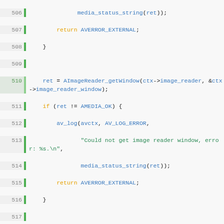[Figure (screenshot): Source code viewer showing C code lines 506-532 with syntax highlighting. Functions include image reader window retrieval, capture_session_closed, capture_session_ready, and capture_session_active with colored syntax (orange keywords, blue identifiers, green strings).]